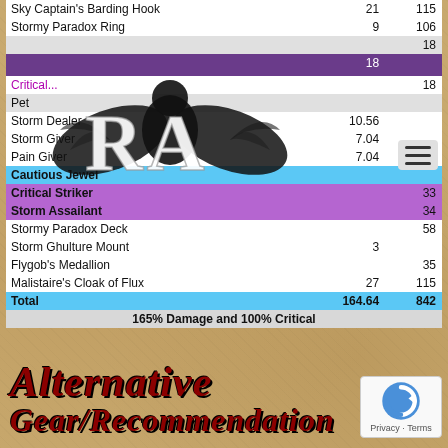| Item | Damage | Critical |
| --- | --- | --- |
| Sky Captain's Barding Hook | 21 | 115 |
| Stormy Paradox Ring | 9 | 106 |
|  |  | 18 |
|  | 18 |  |
|  |  |  |
| Critical... |  | 18 |
| Pet |  |  |
| Storm Dealer | 10.56 |  |
| Storm Giver | 7.04 |  |
| Pain Giver | 7.04 |  |
| Cautious Jewel |  |  |
| Critical Striker |  | 33 |
| Storm Assailant |  | 34 |
| Stormy Paradox Deck |  | 58 |
| Storm Ghulture Mount | 3 |  |
| Flygob's Medallion |  | 35 |
| Malistaire's Cloak of Flux | 27 | 115 |
| Total | 164.64 | 842 |
| 165% Damage and 100% Critical |  |  |
Alternative Gear/Recommendation